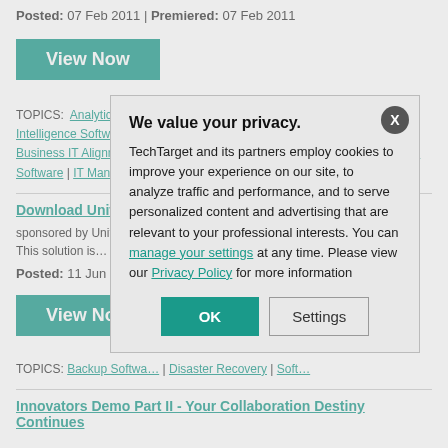Posted: 07 Feb 2011 | Premiered: 07 Feb 2011
[Figure (other): Teal 'View Now' button]
TOPICS: Analytic Applications Software | Business Intelligence | Business Intelligence Software | Business IT Alignment | Dashboards | Data Visualization | Data Visualization Software | IT Management | Reporting Software
Download Unitrends B...
sponsored by Unitre... SOFTWARE DOWN... software, which is de... time. This solution is...
Posted: 11 Jun 201...
[Figure (other): Teal 'View Now' button (second)]
TOPICS: Backup Softwa... | Disaster Recovery | Soft...
Innovators Demo Part II - Your Collaboration Destiny Continues
We value your privacy.
TechTarget and its partners employ cookies to improve your experience on our site, to analyze traffic and performance, and to serve personalized content and advertising that are relevant to your professional interests. You can manage your settings at any time. Please view our Privacy Policy for more information